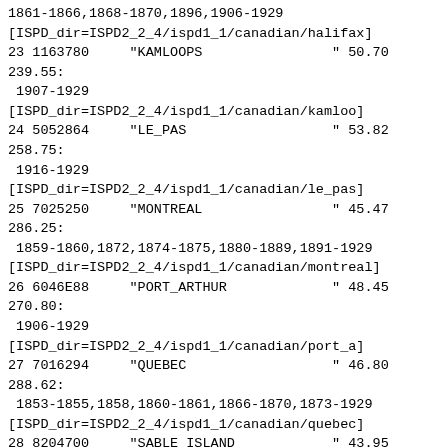1861-1866,1868-1870,1896,1906-1929
[ISPD_dir=ISPD2_2_4/ispd1_1/canadian/halifax]
23 1163780     "KAMLOOPS                " 50.70  239.55:  1907-1929  [ISPD_dir=ISPD2_2_4/ispd1_1/canadian/kamloo]
24 5052864     "LE_PAS                  " 53.82  258.75:  1916-1929  [ISPD_dir=ISPD2_2_4/ispd1_1/canadian/le_pas]
25 7025250     "MONTREAL                " 45.47  286.25:  1859-1860,1872,1874-1875,1880-1889,1891-1929
[ISPD_dir=ISPD2_2_4/ispd1_1/canadian/montreal]
26 6046E88     "PORT_ARTHUR             " 48.45  270.80:  1906-1929  [ISPD_dir=ISPD2_2_4/ispd1_1/canadian/port_a]
27 7016294     "QUEBEC                  " 46.80  288.62:  1853-1855,1858,1860-1861,1866-1870,1873-1929
[ISPD_dir=ISPD2_2_4/ispd1_1/canadian/quebec]
28 8204700     "SABLE_ISLAND            " 43.95  299.90:  1916-1929
[ISPD_dir=ISPD2_2_4/ispd1_1/canadian/sable_isla]
29 8104900     "SAINT_JOHN              " 45.32  294.12:  1875,1896-1897,1907-1929
[ISPD_dir=ISPD2_2_4/ispd1_1/canadian/saint_jo]
30 8403506     "ST_JOHNS                " 47.62  307.25:  1852,1862,1866,1870,1873,1876,1906-1929